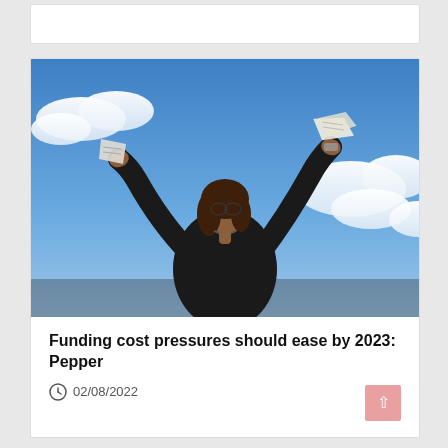[Figure (photo): Woman in black blazer with arms raised triumphantly against a blue sky, holding paper items in each hand, wearing glasses, with curly dark hair.]
Funding cost pressures should ease by 2023: Pepper
02/08/2022